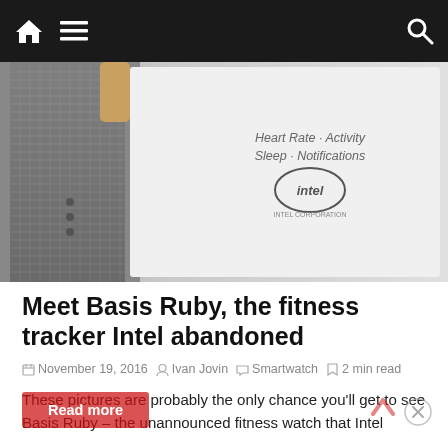[Figure (screenshot): Website navigation bar with dark background, red top line, home icon, hamburger menu, and search icon]
[Figure (photo): Photo of Basis Ruby fitness tracker / smartwatch box showing Intel branding and text: Heart Rate, Activity, Sleep, Notifications]
Meet Basis Ruby, the fitness tracker Intel abandoned
November 19, 2016  Ivan Jovin  Smartwatch  2 min read
These pictures are probably the only chance you'll get to see Basis Ruby – the unannounced fitness watch that Intel
Read more